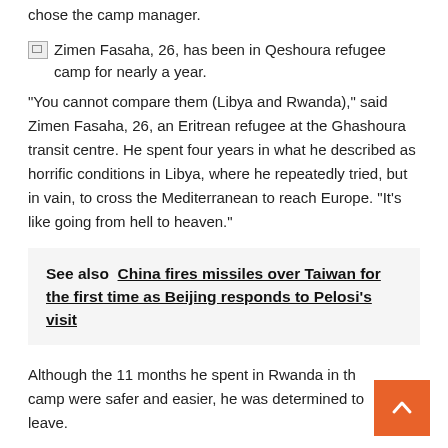chose the camp manager.
[Figure (photo): Broken/missing image placeholder for Zimen Fasaha photo]
Zimen Fasaha, 26, has been in Qeshoura refugee camp for nearly a year.
“You cannot compare them (Libya and Rwanda),” said Zimen Fasaha, 26, an Eritrean refugee at the Ghashoura transit centre. He spent four years in what he described as horrific conditions in Libya, where he repeatedly tried, but in vain, to cross the Mediterranean to reach Europe. “It’s like going from hell to heaven.”
See also  China fires missiles over Taiwan for the first time as Beijing responds to Pelosi's visit
Although the 11 months he spent in Rwanda in the camp were safer and easier, he was determined to leave.